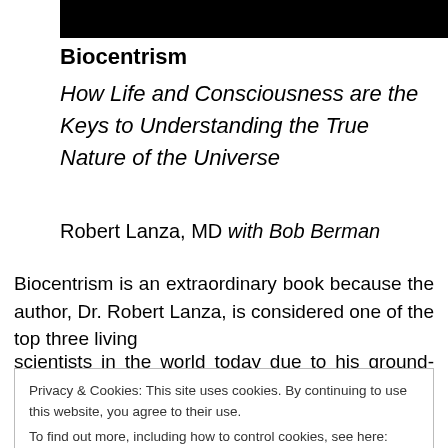[Figure (other): Black redacted bar at top of page]
Biocentrism
How Life and Consciousness are the Keys to Understanding the True Nature of the Universe
Robert Lanza, MD with Bob Berman
Biocentrism is an extraordinary book because the author, Dr. Robert Lanza, is considered one of the top three living scientists in the world today due to his ground-breaking
Privacy & Cookies: This site uses cookies. By continuing to use this website, you agree to their use.
To find out more, including how to control cookies, see here: Cookie Policy
creates matter, not the other way around. Dr. Lanza